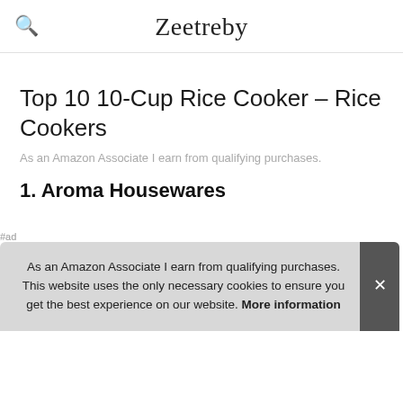Zeetreby
Top 10 10-Cup Rice Cooker – Rice Cookers
As an Amazon Associate I earn from qualifying purchases.
1. Aroma Housewares
#ad
As an Amazon Associate I earn from qualifying purchases. This website uses the only necessary cookies to ensure you get the best experience on our website. More information